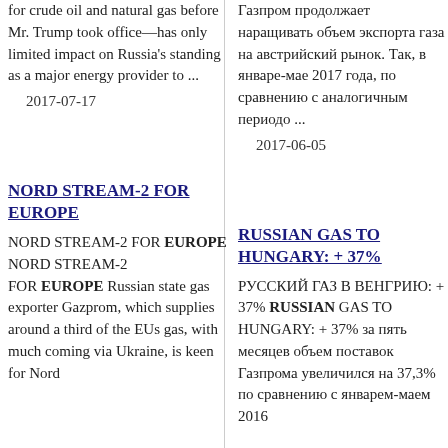for crude oil and natural gas before Mr. Trump took office—has only limited impact on Russia's standing as a major energy provider to ...
2017-07-17
NORD STREAM-2 FOR EUROPE
NORD STREAM-2 FOR EUROPE NORD STREAM-2 FOR EUROPE Russian state gas exporter Gazprom, which supplies around a third of the EUs gas, with much coming via Ukraine, is keen for Nord
Газпром продолжает наращивать объем экспорта газа на австрийский рынок. Так, в январе-мае 2017 года, по сравнению с аналогичным периодо ...
2017-06-05
RUSSIAN GAS TO HUNGARY: + 37%
РУССКИЙ ГАЗ В ВЕНГРИЮ: + 37% RUSSIAN GAS TO HUNGARY: + 37% за пять месяцев объем поставок Газпрома увеличился на 37,3% по сравнению с январем-маем 2016